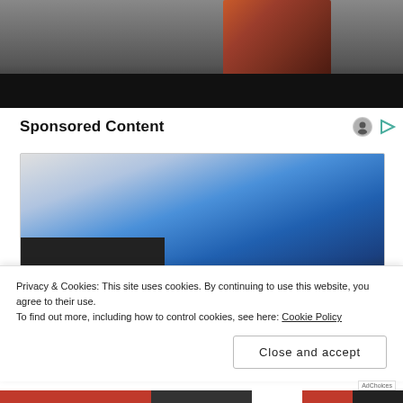[Figure (photo): Partial photo of a person in a floral outfit, cropped, with dark bar at bottom]
Sponsored Content
[Figure (photo): Blue RAM pickup truck facing left, studio/grey background]
Privacy & Cookies: This site uses cookies. By continuing to use this website, you agree to their use.
To find out more, including how to control cookies, see here: Cookie Policy
Close and accept